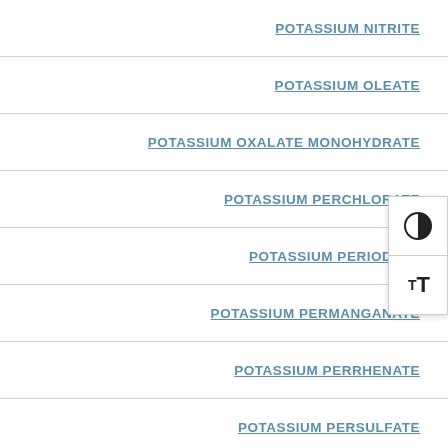POTASSIUM NITRITE
POTASSIUM OLEATE
POTASSIUM OXALATE MONOHYDRATE
POTASSIUM PERCHLORATE
POTASSIUM PERIODATE
POTASSIUM PERMANGANATE
POTASSIUM PERRHENATE
POTASSIUM PERSULFATE